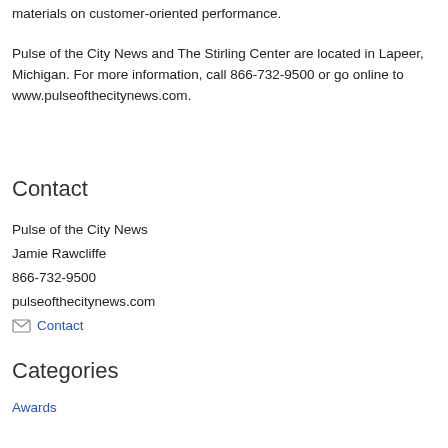materials on customer-oriented performance.
Pulse of the City News and The Stirling Center are located in Lapeer, Michigan. For more information, call 866-732-9500 or go online to www.pulseofthecitynews.com.
Contact
Pulse of the City News
Jamie Rawcliffe
866-732-9500
pulseofthecitynews.com
✉ Contact
Categories
Awards